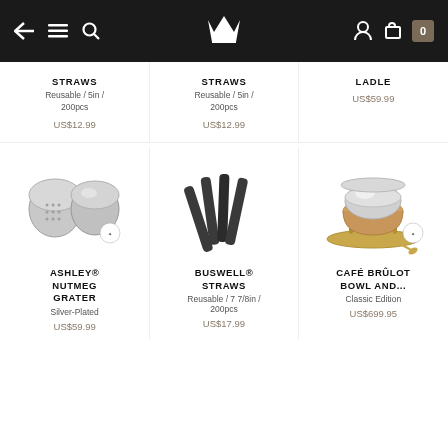Navigation bar with back, menu, search, crown logo, account, cart icons
STRAWS
Reusable / 5in / 200pcs
US$12.99
STRAWS
Reusable / 5in / 200pcs
US$12.99
LADLE
US$59.99
[Figure (photo): Ashley nutmeg grater, two silver metallic pieces]
ASHLEY® NUTMEG GRATER
Silver-Plated
US$59.99
[Figure (photo): Buswell black cocktail straws fanned out]
BUSWELL® STRAWS
Reusable / 7 7/8in / 200pcs
US$17.99
[Figure (photo): Café Brûlot bowl and set, copper and gold toned with silver bowl on stand]
CAFÉ BRÛLOT BOWL AND...
Classic Edition
US$699.95